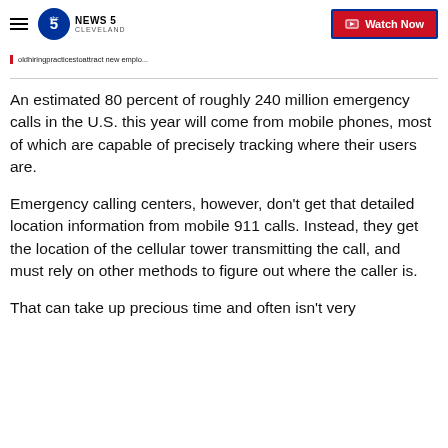News 5 Cleveland | Watch Now
oldhiringpracticestoattract new emplo...
An estimated 80 percent of roughly 240 million emergency calls in the U.S. this year will come from mobile phones, most of which are capable of precisely tracking where their users are.
Emergency calling centers, however, don't get that detailed location information from mobile 911 calls. Instead, they get the location of the cellular tower transmitting the call, and must rely on other methods to figure out where the caller is.
That can take up precious time and often isn't very